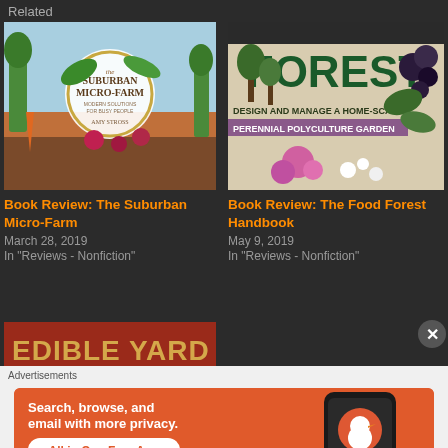Related
[Figure (photo): Book cover: The Suburban Micro-Farm by Amy Stross]
Book Review: The Suburban Micro-Farm
March 28, 2019
In "Reviews - Nonfiction"
[Figure (photo): Book cover: The Food Forest Handbook - Design and Manage a Home-Scale Perennial Polyculture Garden]
Book Review: The Food Forest Handbook
May 9, 2019
In "Reviews - Nonfiction"
[Figure (photo): Book cover: Edible Yard - The Mow-Less, Grow More]
Advertisements
[Figure (screenshot): DuckDuckGo advertisement: Search, browse, and email with more privacy. All in One Free App. Shows phone with DuckDuckGo app.]